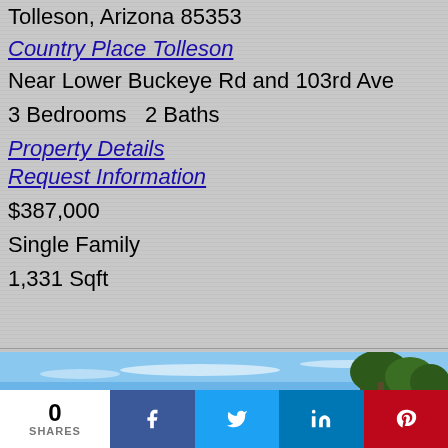Tolleson, Arizona 85353
Country Place Tolleson
Near Lower Buckeye Rd and 103rd Ave
3 Bedrooms   2 Baths
Property Details
Request Information
$387,000
Single Family
1,331 Sqft
[Figure (photo): Outdoor photo showing blue sky and trees]
0 SHARES